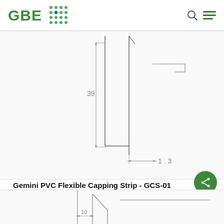GBE
[Figure (engineering-diagram): Technical cross-section drawing of a PVC capping strip profile showing vertical dimension of 39 and horizontal dimension of 1.3, with extension lines and arrows indicating measurements.]
Gemini PVC Flexible Capping Strip - GCS-01
[Figure (engineering-diagram): Partial technical drawing showing the bottom portion of a capping strip profile with dimension of 10 indicated.]